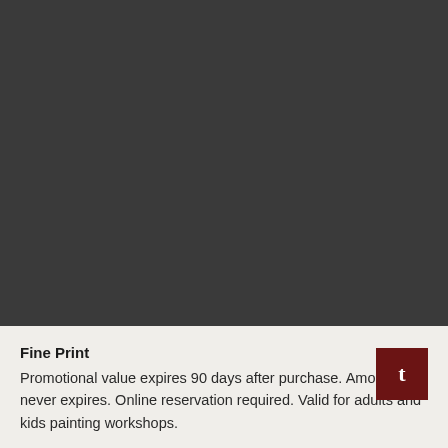Fine Print
Promotional value expires 90 days after purchase. Amount paid never expires. Online reservation required. Valid for adults and kids painting workshops.